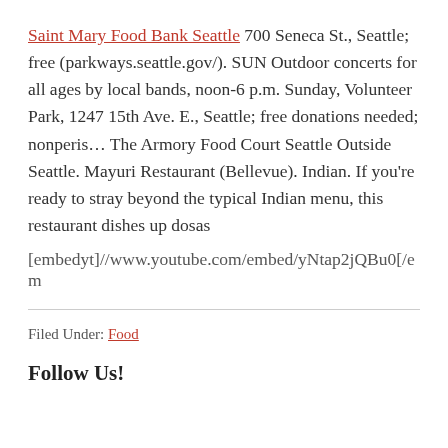Saint Mary Food Bank Seattle 700 Seneca St., Seattle; free (parkways.seattle.gov/). SUN Outdoor concerts for all ages by local bands, noon-6 p.m. Sunday, Volunteer Park, 1247 15th Ave. E., Seattle; free donations needed; nonperis... The Armory Food Court Seattle Outside Seattle. Mayuri Restaurant (Bellevue). Indian. If you're ready to stray beyond the typical Indian menu, this restaurant dishes up dosas
[embedyt]//www.youtube.com/embed/yNtap2jQBu0[/em
Filed Under: Food
Follow Us!